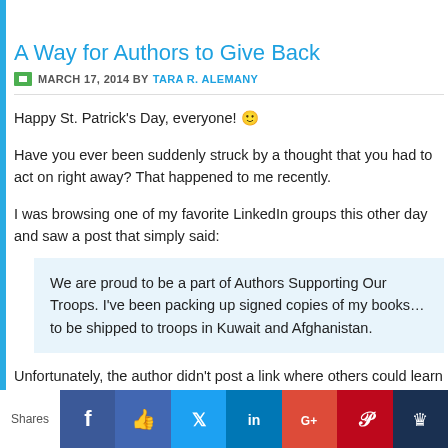A Way for Authors to Give Back
MARCH 17, 2014 BY TARA R. ALEMANY
Happy St. Patrick’s Day, everyone! 🙂
Have you ever been suddenly struck by a thought that you had to act on right away? That happened to me recently.
I was browsing one of my favorite LinkedIn groups this other day and saw a post that simply said:
We are proud to be a part of Authors Supporting Our Troops. I’ve been packing up signed copies of my books… to be shipped to troops in Kuwait and Afghanistan.
Unfortunately, the author didn’t post a link where others could learn more. But the idea appealed to me. Both my sister and brother-in-law are veterans and actually met while in Kuwait (after they’d both gone back), so I wanted to learn more.